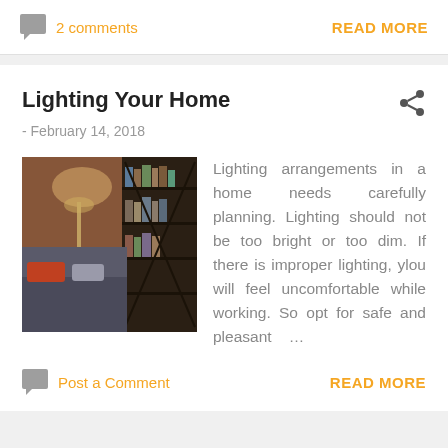2 comments
READ MORE
Lighting Your Home
- February 14, 2018
[Figure (photo): Interior room photo showing a couch with orange and grey pillows against a brick wall with bookshelves and warm lighting]
Lighting arrangements in a home needs carefully planning. Lighting should not be too bright or too dim. If there is improper lighting, ylou will feel uncomfortable while working. So opt for safe and pleasant ...
Post a Comment
READ MORE